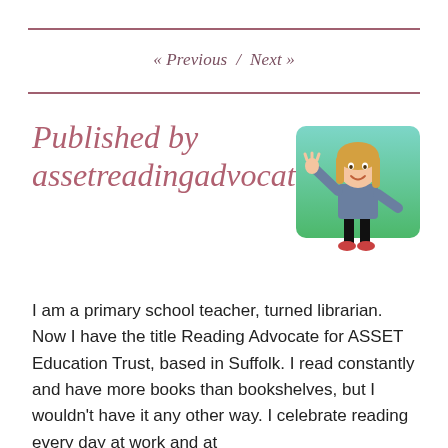<< Previous  /  Next >>
Published by assetreadingadvocate
[Figure (illustration): Cartoon avatar of a woman with blonde hair wearing a blue jacket and black pants, waving, on a green rounded-rectangle background]
I am a primary school teacher, turned librarian. Now I have the title Reading Advocate for ASSET Education Trust, based in Suffolk. I read constantly and have more books than bookshelves, but I wouldn't have it any other way. I celebrate reading every day at work and at